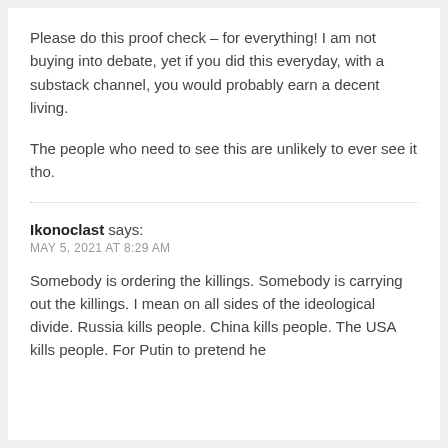Please do this proof check – for everything! I am not buying into debate, yet if you did this everyday, with a substack channel, you would probably earn a decent living.

The people who need to see this are unlikely to ever see it tho.
Ikonoclast says:
MAY 5, 2021 AT 8:29 AM
Somebody is ordering the killings. Somebody is carrying out the killings. I mean on all sides of the ideological divide. Russia kills people. China kills people. The USA kills people. For Putin to pretend he